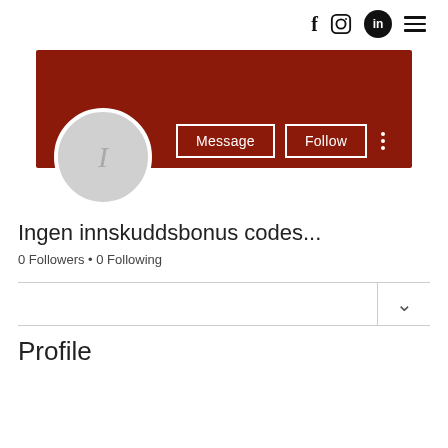f  [instagram]  in  ≡
[Figure (screenshot): User profile page showing a dark red banner, a circular avatar with letter I, Message and Follow buttons, profile name 'Ingen innskuddsbonus codes...', 0 Followers, 0 Following, a collapsed section with chevron, and a Profile section header.]
Ingen innskuddsbonus codes...
0 Followers • 0 Following
Profile